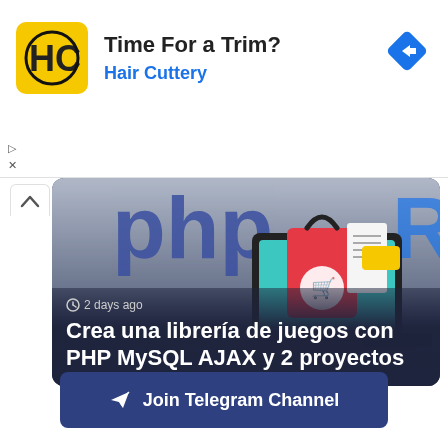[Figure (illustration): Hair Cuttery advertisement banner with yellow logo, 'Time For a Trim?' heading, 'Hair Cuttery' subtitle in blue, and a blue diamond navigation arrow icon on the right]
[Figure (illustration): Article card with PHP/MySQL/AJAX course thumbnail showing a laptop with shopping bag illustration, PHP logo text at top, on dark gradient background with title 'Crea una librería de juegos con PHP MySQL AJAX y 2 proyectos' and timestamp '2 days ago']
Join Telegram Channel